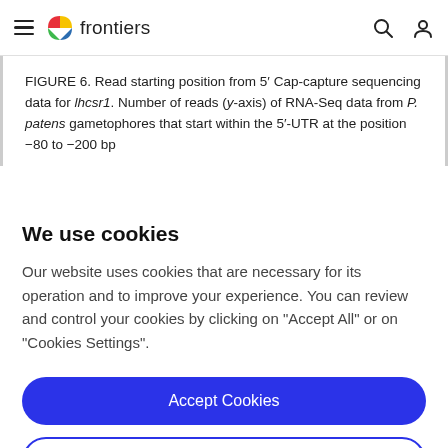frontiers
FIGURE 6. Read starting position from 5′ Cap-capture sequencing data for lhcsr1. Number of reads (y-axis) of RNA-Seq data from P. patens gametophores that start within the 5′-UTR at the position −80 to −200 bp
We use cookies
Our website uses cookies that are necessary for its operation and to improve your experience. You can review and control your cookies by clicking on "Accept All" or on "Cookies Settings".
Accept Cookies
Cookies Settings